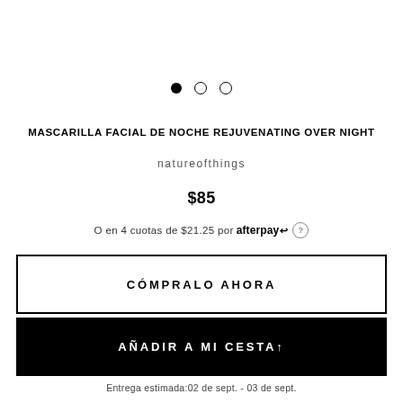[Figure (other): Image carousel dot indicators: one filled black dot and two empty circle dots]
MASCARILLA FACIAL DE NOCHE REJUVENATING OVER NIGHT
natureofthings
$85
O en 4 cuotas de $21.25 por afterpay (?)
CÓMPRALO AHORA
AÑADIR A MI CESTA↑
Entrega estimada:02 de sept. - 03 de sept.